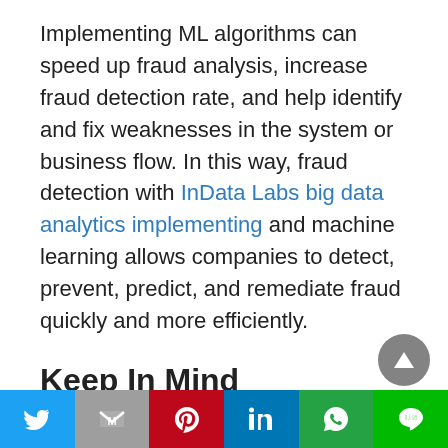Implementing ML algorithms can speed up fraud analysis, increase fraud detection rate, and help identify and fix weaknesses in the system or business flow. In this way, fraud detection with InData Labs big data analytics implementing and machine learning allows companies to detect, prevent, predict, and remediate fraud quickly and more efficiently.
Keep In Mind
There are some prerequisites that determine how successful the integration of ML will be. Keep an eye on the following factors: